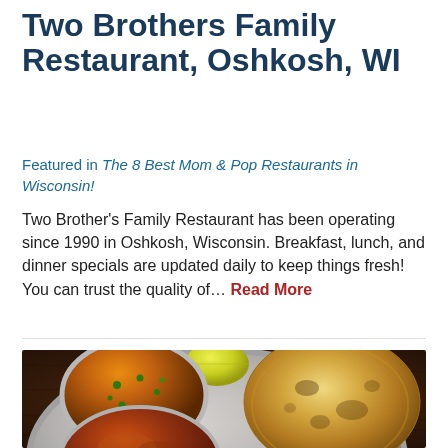Two Brothers Family Restaurant, Oshkosh, WI
Featured in The 8 Best Mom & Pop Restaurants in Wisconsin!
Two Brother's Family Restaurant has been operating since 1990 in Oshkosh, Wisconsin. Breakfast, lunch, and dinner specials are updated daily to keep things fresh! You can trust the quality of… Read More
[Figure (photo): Indian food thali plate with dal curry in silver bowl, stack of chapati/roti bread, lemon wedge, and another curry dish, on a dark wooden table]